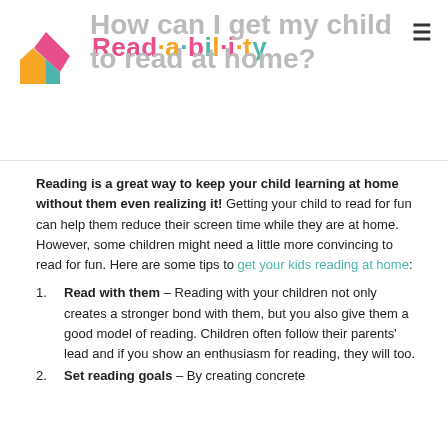Read·a·bil·i·ty
How can I get my child to read at home?
Reading is a great way to keep your child learning at home without them even realizing it! Getting your child to read for fun can help them reduce their screen time while they are at home. However, some children might need a little more convincing to read for fun. Here are some tips to get your kids reading at home:
Read with them – Reading with your children not only creates a stronger bond with them, but you also give them a good model of reading. Children often follow their parents' lead and if you show an enthusiasm for reading, they will too.
Set reading goals – By creating concrete